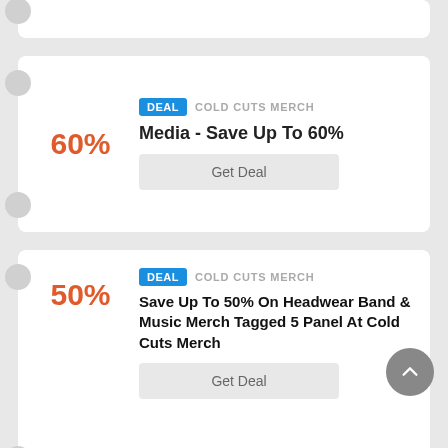[Figure (screenshot): Top partial deal card (cropped at top of page)]
DEAL  COLD CUTS MERCH
Media - Save Up To 60%
60%
Get Deal
DEAL  COLD CUTS MERCH
Save Up To 50% On Headwear Band & Music Merch Tagged 5 Panel At Cold Cuts Merch
50%
Get Deal